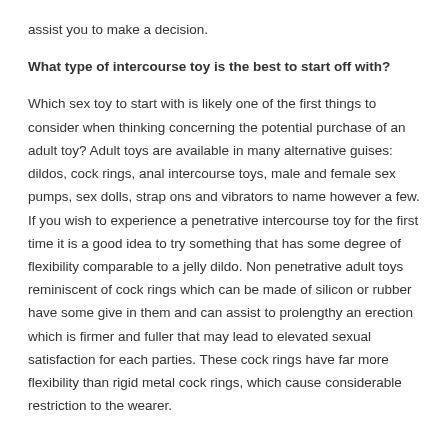assist you to make a decision.
What type of intercourse toy is the best to start off with?
Which sex toy to start with is likely one of the first things to consider when thinking concerning the potential purchase of an adult toy? Adult toys are available in many alternative guises: dildos, cock rings, anal intercourse toys, male and female sex pumps, sex dolls, strap ons and vibrators to name however a few. If you wish to experience a penetrative intercourse toy for the first time it is a good idea to try something that has some degree of flexibility comparable to a jelly dildo. Non penetrative adult toys reminiscent of cock rings which can be made of silicon or rubber have some give in them and can assist to prolengthy an erection which is firmer and fuller that may lead to elevated sexual satisfaction for each parties. These cock rings have far more flexibility than rigid metal cock rings, which cause considerable restriction to the wearer.